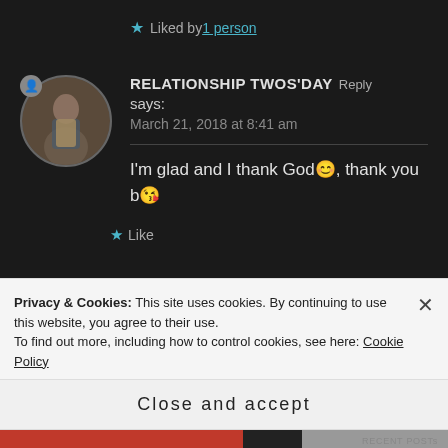Liked by 1 person
RELATIONSHIP TWOS'DAY says: March 21, 2018 at 8:41 am
I'm glad and I thank God😊, thank you b😘
Like
Privacy & Cookies: This site uses cookies. By continuing to use this website, you agree to their use.
To find out more, including how to control cookies, see here: Cookie Policy
Close and accept